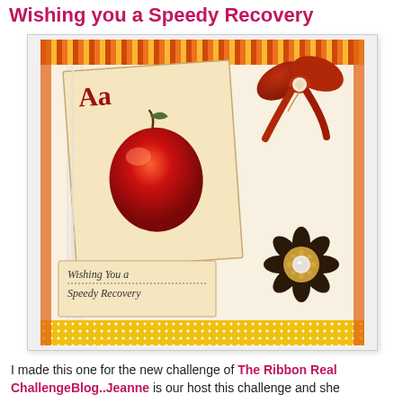Wishing you a Speedy Recovery
[Figure (photo): A handmade greeting card with a vintage alphabet 'Aa' apple motif, orange striped border, lace strip, red fabric bow, dark crocheted flower with pearl center, and 'Wishing You a Speedy Recovery' text.]
I made this one for the new challenge of The Ribbon Real ChallengeBlog..Jeanne is  our host this challenge and she